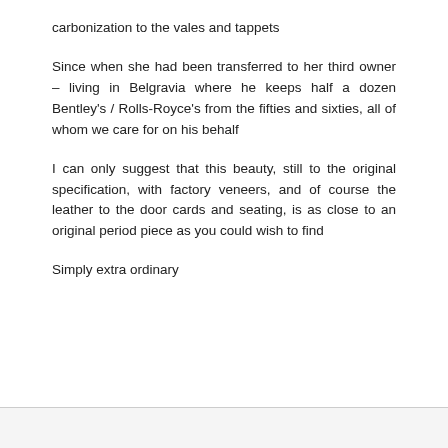carbonization to the vales and tappets
Since when she had been transferred to her third owner – living in Belgravia where he keeps half a dozen Bentley's / Rolls-Royce's from the fifties and sixties, all of whom we care for on his behalf
I can only suggest that this beauty, still to the original specification, with factory veneers, and of course the leather to the door cards and seating, is as close to an original period piece as you could wish to find
Simply extra ordinary